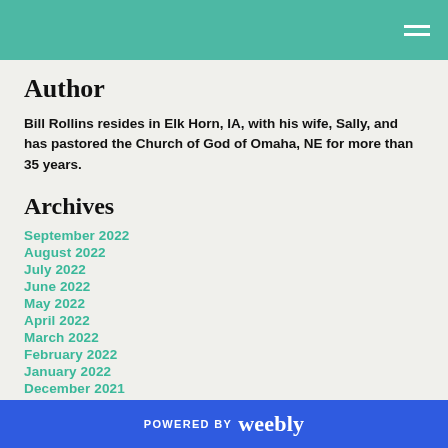Author
Bill Rollins resides in Elk Horn, IA, with his wife, Sally, and has pastored the Church of God of Omaha, NE for more than 35 years.
Archives
September 2022
August 2022
July 2022
June 2022
May 2022
April 2022
March 2022
February 2022
January 2022
December 2021
POWERED BY weebly